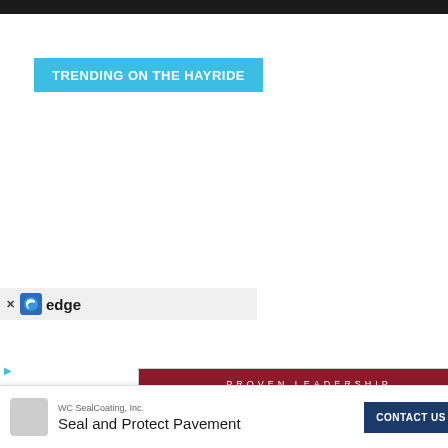TRENDING ON THE HAYRIDE
[Figure (illustration): Jeff Landry political campaign advertisement with 'PROVEN LEADERSHIP' header in dark red, Jeff Landry name in dark blue serif/bold font, Louisiana state logo, and photo of a smiling man in a suit on the right side]
[Figure (screenshot): Edge browser notification bar at bottom left showing Microsoft Edge logo and label 'edge']
[Figure (infographic): WC SealCoating Inc. advertisement bar at bottom: 'Seal and Protect Pavement' with 'CONTACT US' button]